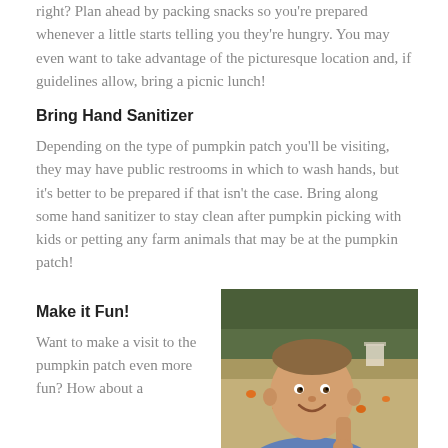right? Plan ahead by packing snacks so you're prepared whenever a little starts telling you they're hungry. You may even want to take advantage of the picturesque location and, if guidelines allow, bring a picnic lunch!
Bring Hand Sanitizer
Depending on the type of pumpkin patch you'll be visiting, they may have public restrooms in which to wash hands, but it's better to be prepared if that isn't the case. Bring along some hand sanitizer to stay clean after pumpkin picking with kids or petting any farm animals that may be at the pumpkin patch!
Make it Fun!
Want to make a visit to the pumpkin patch even more fun? How about a
[Figure (photo): A young smiling boy at a pumpkin patch, holding something small, with trees and pumpkins visible in the background on a dirt field.]